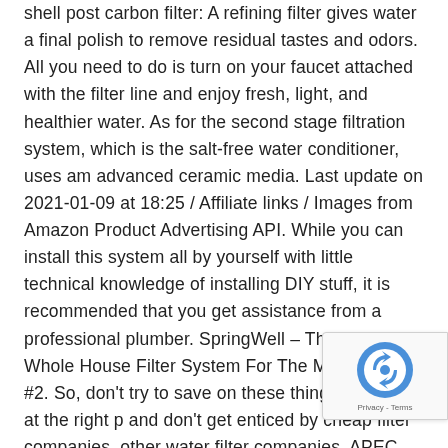shell post carbon filter: A refining filter gives water a final polish to remove residual tastes and odors. All you need to do is turn on your faucet attached with the filter line and enjoy fresh, light, and healthier water. As for the second stage filtration system, which is the salt-free water conditioner, uses am advanced ceramic media. Last update on 2021-01-09 at 18:25 / Affiliate links / Images from Amazon Product Advertising API. While you can install this system all by yourself with little technical knowledge of installing DIY stuff, it is recommended that you get assistance from a professional plumber. SpringWell – The Best Whole House Filter System For The Money 1.2 #2. So, don't try to save on these things and buy at the right p and don't get enticed by cheap filter companies. other water filter companies. APEC makes sure to
[Figure (other): reCAPTCHA badge with logo and Privacy - Terms links]